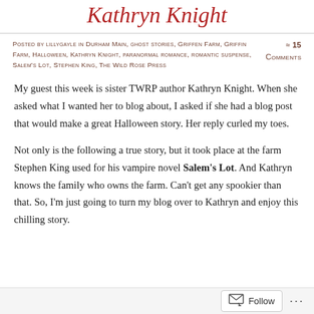Kathryn Knight
Posted by lillygayle in Durham Main, ghost stories, Griffen Farm, Griffin Farm, Halloween, Kathryn Knight, paranormal romance, romantic suspense, Salem's Lot, Stephen King, The Wild Rose Press ≈ 15 Comments
My guest this week is sister TWRP author Kathryn Knight. When she asked what I wanted her to blog about, I asked if she had a blog post that would make a great Halloween story. Her reply curled my toes.
Not only is the following a true story, but it took place at the farm Stephen King used for his vampire novel Salem's Lot. And Kathryn knows the family who owns the farm. Can't get any spookier than that. So, I'm just going to turn my blog over to Kathryn and enjoy this chilling story.
Follow ...